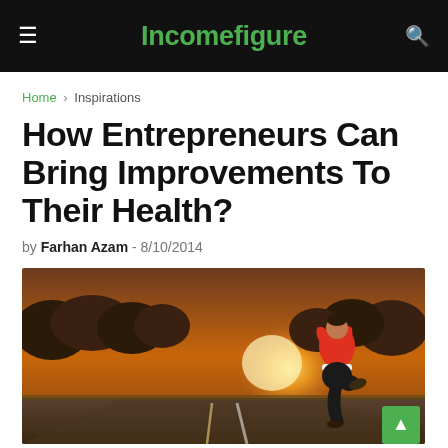Incomefigure
Home › Inspirations
How Entrepreneurs Can Bring Improvements To Their Health?
by Farhan Azam - 8/10/2014
[Figure (photo): A person in a red top and black shorts running on a road at sunset, with trees and bright sunlight in the background.]